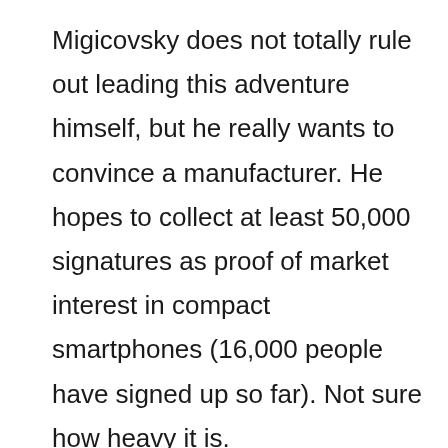Migicovsky does not totally rule out leading this adventure himself, but he really wants to convince a manufacturer. He hopes to collect at least 50,000 signatures as proof of market interest in compact smartphones (16,000 people have signed up so far). Not sure how heavy it is.
We would love to say thanks to the author of this article for this